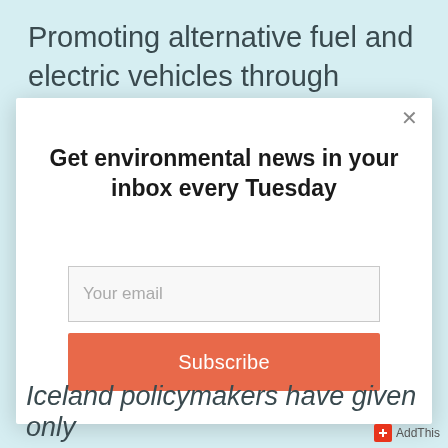Promoting alternative fuel and electric vehicles through expanding fueling infrastructure, easing upfront costs for
[Figure (screenshot): Modal popup with newsletter subscription form. Contains a close (×) button, headline 'Get environmental news in your inbox every Tuesday', an email input field with placeholder 'Your email', and an orange 'Subscribe' button.]
Iceland policymakers have given only